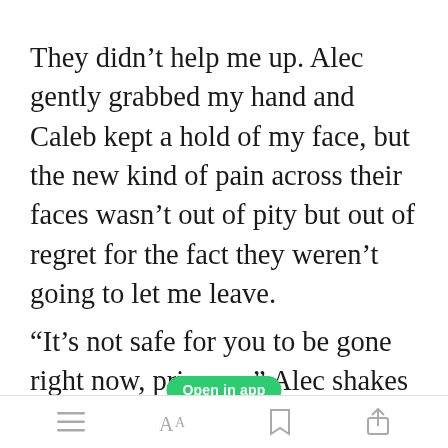They didn't help me up. Alec gently grabbed my hand and Caleb kept a hold of my face, but the new kind of pain across their faces wasn't out of pity but out of regret for the fact they weren't going to let me leave.
“It’s not safe for you to be gone right now, princess.” Alec shakes his head, and even though I’m furious
[Figure (screenshot): Green 'Open in app' button overlay]